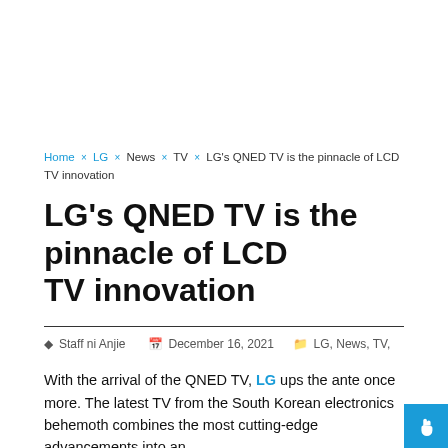Home × LG × News × TV × LG's QNED TV is the pinnacle of LCD TV innovation
LG's QNED TV is the pinnacle of LCD TV innovation
Staff ni Anjie   December 16, 2021   LG, News, TV,
With the arrival of the QNED TV, LG ups the ante once more. The latest TV from the South Korean electronics behemoth combines the most cutting-edge advancements into an